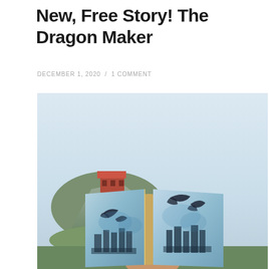New, Free Story! The Dragon Maker
DECEMBER 1, 2020 / 1 COMMENT
[Figure (photo): A person holds up an open sketchbook/art book outdoors showing a blue watercolor painting of dragons flying over a castle. In the background is a rocky cliff with a red-roofed building, under a pale blue-grey sky.]